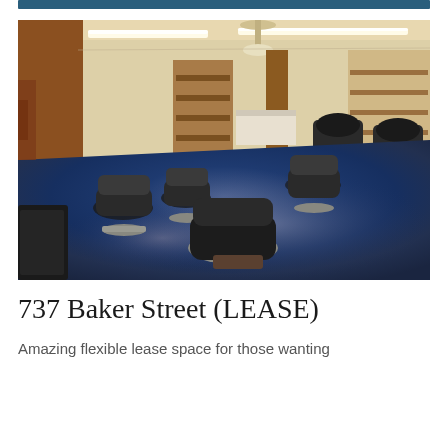[Figure (photo): Interior of a barber shop / salon with multiple black barber chairs arranged on a shiny blue epoxy floor. Warm lighting from ceiling strip lights illuminates the space. Wooden shelving units and columns are visible in the background, along with wash basins and styling stations.]
737 Baker Street (LEASE)
Amazing flexible lease space for those wanting